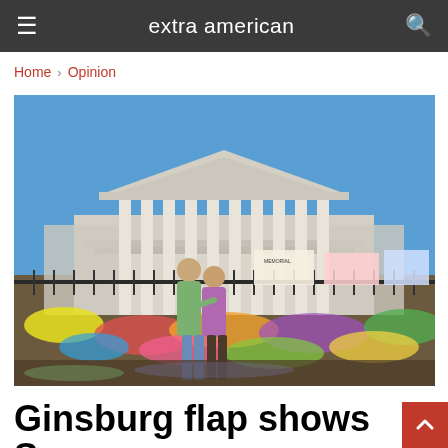extra american
Home > Opinion
[Figure (photo): Two people embracing in front of the US Supreme Court building, with flowers, signs, and memorial tributes laid out on the ground in front of a fence, under a clear blue sky.]
Ginsburg flap shows Supreme